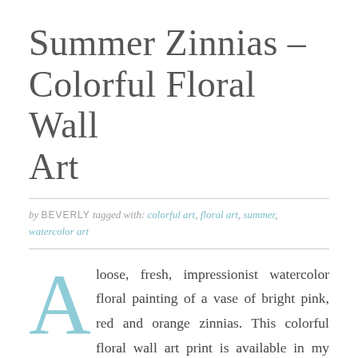Summer Zinnias – Colorful Floral Wall Art
by BEVERLY tagged with: colorful art, floral art, summer, watercolor art
A loose, fresh, impressionist watercolor floral painting of a vase of bright pink, red and orange zinnias. This colorful floral wall art print is available in my online shop. Each print is made to order in a choice of sizes and framing options; on fine art paper, gallery-wrapped canvas, metal or acrylic. Custom artwork is [...]